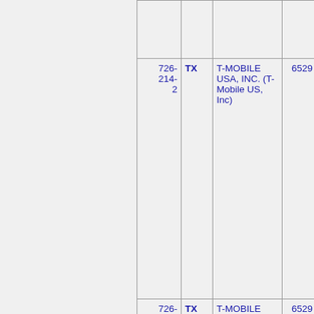| Number | State | Company | ZIP | City |
| --- | --- | --- | --- | --- |
| 726-214-2 | TX | T-MOBILE USA, INC. (T-Mobile US, Inc) | 6529 | SANANTU... |
| 726-214-3 | TX | T-MOBILE USA, INC. (T-Mobile US, Inc) | 6529 | SANANTU... |